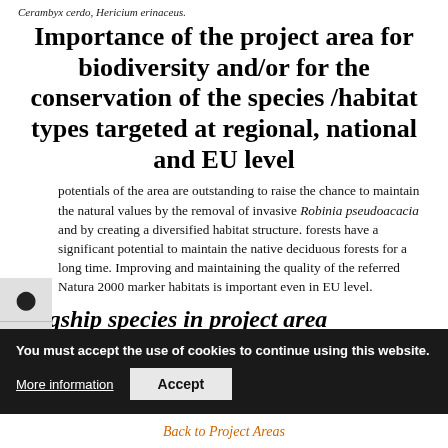Cerambyx cerdo, Hericium erinaceus.
Importance of the project area for biodiversity and/or for the conservation of the species /habitat types targeted at regional, national and EU level
potentials of the area are outstanding to raise the chance to maintain the natural values by the removal of invasive Robinia pseudoacacia and by creating a diversified habitat structure. forests have a significant potential to maintain the native deciduous forests for a long time. Improving and maintaining the quality of the referred Natura 2000 marker habitats is important even in EU level.
Flagship species in project area
Sorbus danubialis, Hyles hippophaes, Garrulus glandarius
Back to Project Areas